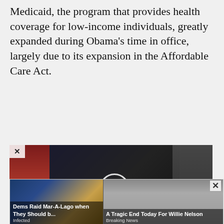Medicaid, the program that provides health coverage for low-income individuals, greatly expanded during Obama's time in office, largely due to its expansion in the Affordable Care Act.
[Figure (screenshot): Video thumbnail showing a person in a patterned shirt with a play button overlay, name tag reading Zachy Hennessey @TheSonicWombat, and lower third text reading GOING VIRAL - THE DEFINITION OF FLIPPING OUT]
When Obama took office in 2009, there
[Figure (screenshot): Advertisement strip with two panels: left panel showing Donald Trump at desk with caption Dems Raid Mar-A-Lago when They Should b... Infected; right panel showing older man with caption A Tragic End Today For Willie Nelson Breaking News. Close X button top right.]